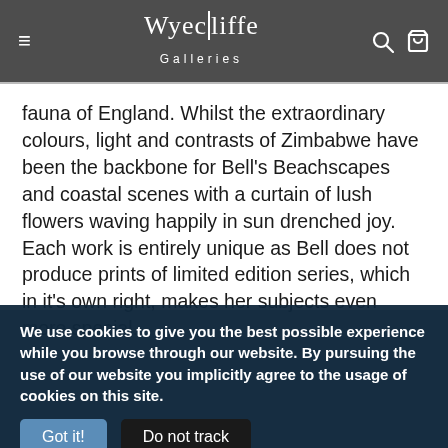Wyecliffe Galleries
fauna of England. Whilst the extraordinary colours, light and contrasts of Zimbabwe have been the backbone for Bell's Beachscapes and coastal scenes with a curtain of lush flowers waving happily in sun drenched joy. Each work is entirely unique as Bell does not produce prints of limited edition series, which in it's own right, makes her subjects even more special.
We use cookies to give you the best possible experience while you browse through our website. By pursuing the use of our website you implicitly agree to the usage of cookies on this site.